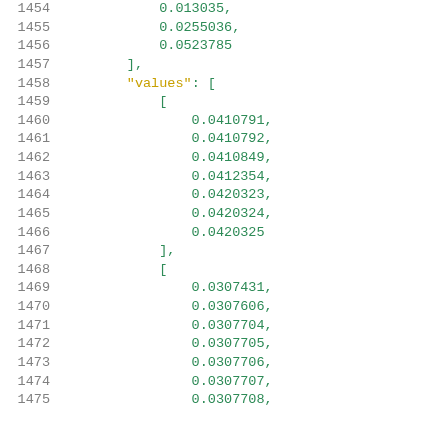Code listing lines 1454-1475 showing numerical array data in JSON/Python format
1454    0.013035,
1455    0.0255036,
1456    0.0523785
1457  ],
1458  "values": [
1459    [
1460      0.0410791,
1461      0.0410792,
1462      0.0410849,
1463      0.0412354,
1464      0.0420323,
1465      0.0420324,
1466      0.0420325
1467    ],
1468    [
1469      0.0307431,
1470      0.0307606,
1471      0.0307704,
1472      0.0307705,
1473      0.0307706,
1474      0.0307707,
1475      0.0307708,